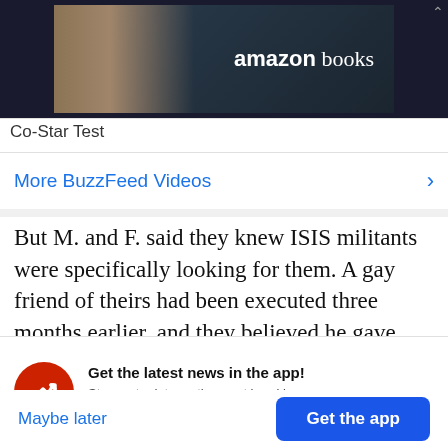[Figure (photo): Amazon Books advertisement banner showing a bald man and Amazon Books logo text on dark background]
Co-Star Test
More BuzzFeed Videos
But M. and F. said they knew ISIS militants were specifically looking for them. A gay friend of theirs had been executed three months earlier, and they believed he gave their names to his captors before
Get the latest news in the app! Stay up to date on the most breaking news, all from your BuzzFeed app.
Maybe later
Get the app